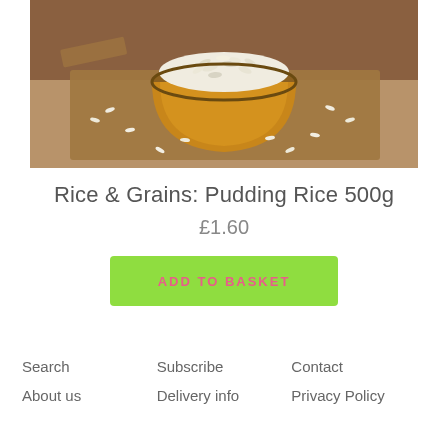[Figure (photo): A wooden bowl overflowing with white rice grains, placed on a wooden board with scattered rice grains around it on a rustic surface.]
Rice & Grains: Pudding Rice 500g
£1.60
ADD TO BASKET
Search
Subscribe
Contact
About us
Delivery info
Privacy Policy